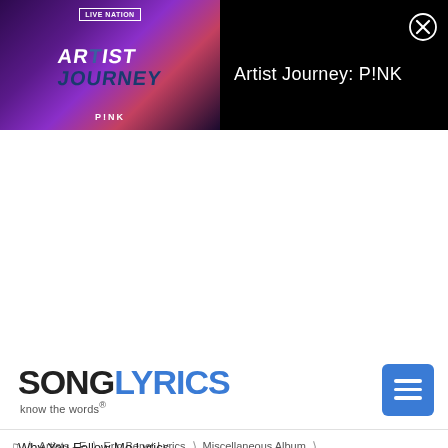[Figure (screenshot): Live Nation Artist Journey P!NK advertisement banner with purple/dark background showing logo with 'ARTIST JOURNEY' text and 'P!NK' below. Right side shows title 'Artist Journey: P!NK' in white text on black background with a close (X) button.]
[Figure (logo): SongLyrics logo — 'SONG' in dark/black bold text and 'LYRICS' in blue bold text, with tagline 'know the words®' below. Blue hamburger menu button on the right.]
Artists - E  ❯  Eric Benet Lyrics  ❯  Miscellaneous Album  ❯
Why You Follow Me Lyrics